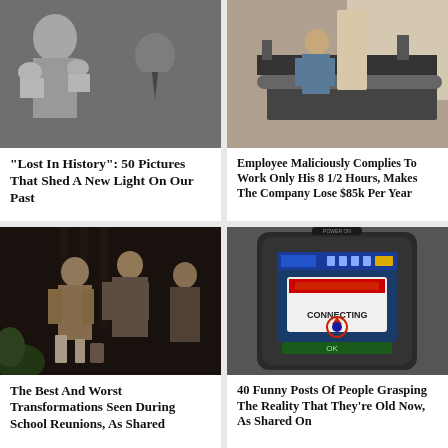[Figure (photo): Black and white photo of a person holding two newborn babies, another person in background]
"Lost In History": 50 Pictures That Shed A New Light On Our Past
[Figure (photo): Person in overalls working at a large industrial machine or press]
Employee Maliciously Complies To Work Only His 8 1/2 Hours, Makes The Company Lose $85k Per Year
[Figure (photo): People at a party or social gathering, men in suits/jackets, drinks on table]
The Best And Worst Transformations Seen During School Reunions, As Shared
[Figure (photo): Close-up of a portable device screen showing CONNECTING message with a loading icon]
40 Funny Posts Of People Grasping The Reality That They're Old Now, As Shared On